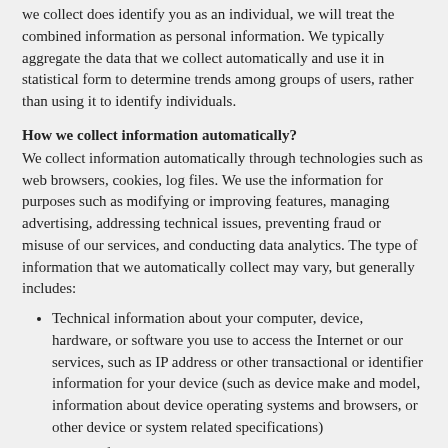we collect does identify you as an individual, we will treat the combined information as personal information. We typically aggregate the data that we collect automatically and use it in statistical form to determine trends among groups of users, rather than using it to identify individuals.
How we collect information automatically?
We collect information automatically through technologies such as web browsers, cookies, log files. We use the information for purposes such as modifying or improving features, managing advertising, addressing technical issues, preventing fraud or misuse of our services, and conducting data analytics. The type of information that we automatically collect may vary, but generally includes:
Technical information about your computer, device, hardware, or software you use to access the Internet or our services, such as IP address or other transactional or identifier information for your device (such as device make and model, information about device operating systems and browsers, or other device or system related specifications)
Usage information and statistics about your interaction with our websites and applications, which may include the URLs of our websites that you have visited, time you visited, URLs of referring and exiting pages, page views, time spent on page